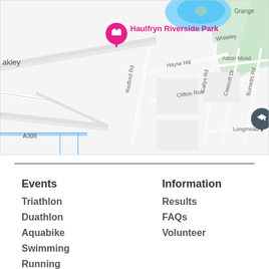[Figure (map): Google Maps screenshot showing Haulfryn Riverside Park marked with a pink hotel/accommodation pin, and Homer First School marked with a dark teal school pin. Streets visible include Hayse Hill, Clifton Rise, Redford Rd, Gallys Rd, Aston Mead, Whiteley, Cawcott Dr, Burnetts Rd, Longmead, A308. Areas labeled include Grange and oakley.]
Events
Triathlon
Duathlon
Aquabike
Swimming
Running
Trail Running
Information
Results
FAQs
Volunteer